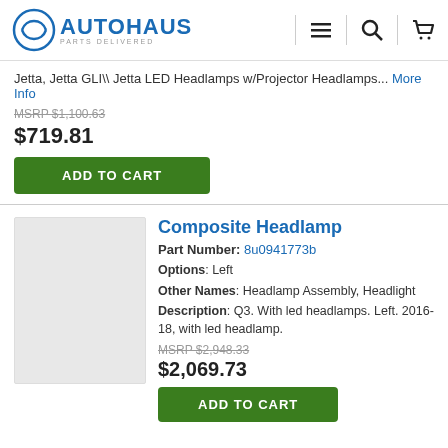AUTOHAUS PARTS DELIVERED
Jetta, Jetta GLI\ \ Jetta LED Headlamps w/Projector Headlamps... More Info
MSRP $1,100.63
$719.81
ADD TO CART
Composite Headlamp
Part Number: 8u0941773b
Options: Left
Other Names: Headlamp Assembly, Headlight
Description: Q3. With led headlamps. Left. 2016-18, with led headlamp.
MSRP $2,948.33
$2,069.73
ADD TO CART